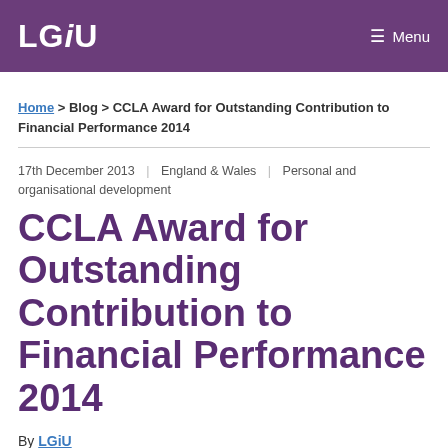LGiU   Menu
Home > Blog > CCLA Award for Outstanding Contribution to Financial Performance 2014
17th December 2013 | England & Wales | Personal and organisational development
CCLA Award for Outstanding Contribution to Financial Performance 2014
By LGiU